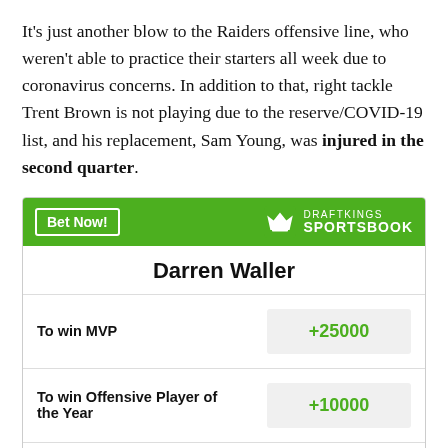It's just another blow to the Raiders offensive line, who weren't able to practice their starters all week due to coronavirus concerns. In addition to that, right tackle Trent Brown is not playing due to the reserve/COVID-19 list, and his replacement, Sam Young, was injured in the second quarter.
[Figure (other): DraftKings Sportsbook betting widget for Darren Waller showing three betting lines: To win MVP (+25000), To win Offensive Player of the Year (+10000), Most Receiving Yards in League (+7000)]